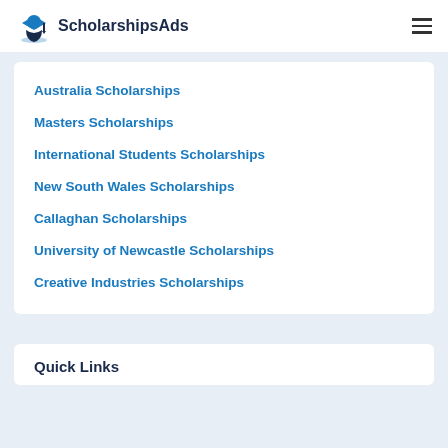ScholarshipsAds
Australia Scholarships
Masters Scholarships
International Students Scholarships
New South Wales Scholarships
Callaghan Scholarships
University of Newcastle Scholarships
Creative Industries Scholarships
Quick Links